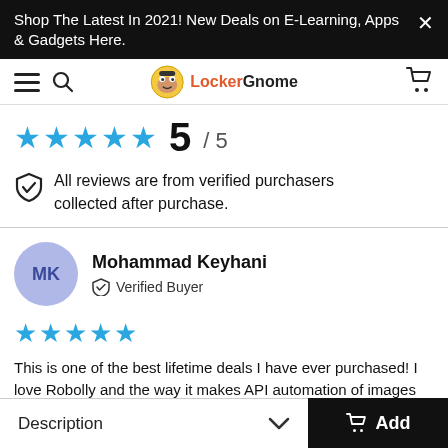Shop The Latest In 2021! New Deals on E-Learning, Apps & Gadgets Here.
[Figure (screenshot): LockerGnome website navigation bar with hamburger menu, search icon, logo, and cart icon]
5 / 5
All reviews are from verified purchasers collected after purchase.
Mohammad Keyhani
Verified Buyer
This is one of the best lifetime deals I have ever purchased! I love Robolly and the way it makes API automation of images
Description  Add